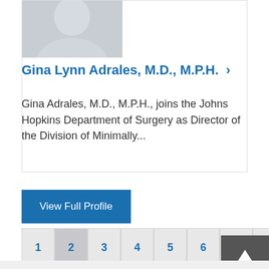[Figure (photo): Photo of Gina Lynn Adrales, a woman in professional attire]
Gina Lynn Adrales, M.D., M.P.H. >
Gina Adrales, M.D., M.P.H., joins the Johns Hopkins Department of Surgery as Director of the Division of Minimally...
View Full Profile
1  2  3  4  5  6  7  >>